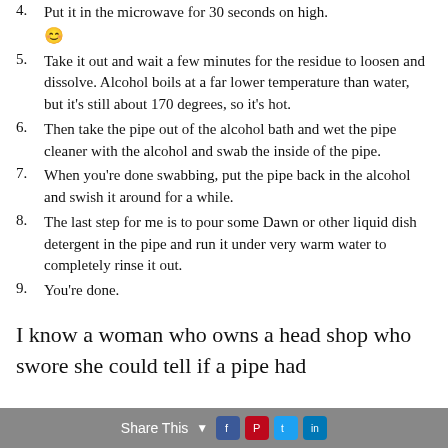4. Put it in the microwave for 30 seconds on high. 😊
5. Take it out and wait a few minutes for the residue to loosen and dissolve. Alcohol boils at a far lower temperature than water, but it's still about 170 degrees, so it's hot.
6. Then take the pipe out of the alcohol bath and wet the pipe cleaner with the alcohol and swab the inside of the pipe.
7. When you're done swabbing, put the pipe back in the alcohol and swish it around for a while.
8. The last step for me is to pour some Dawn or other liquid dish detergent in the pipe and run it under very warm water to completely rinse it out.
9. You're done.
I know a woman who owns a head shop who swore she could tell if a pipe had
Share This